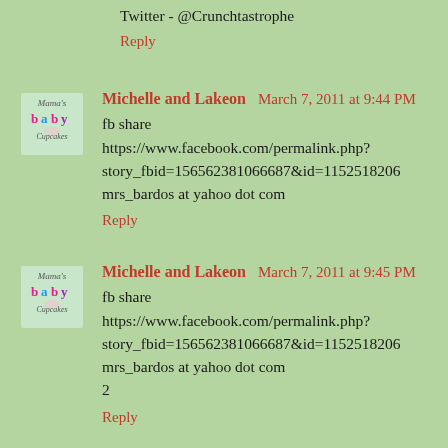Twitter - @Crunchtastrophe
Reply
Michelle and Lakeon  March 7, 2011 at 9:44 PM
fb share
https://www.facebook.com/permalink.php?story_fbid=156562381066687&id=1152518206
mrs_bardos at yahoo dot com
Reply
Michelle and Lakeon  March 7, 2011 at 9:45 PM
fb share
https://www.facebook.com/permalink.php?story_fbid=156562381066687&id=1152518206
mrs_bardos at yahoo dot com
2
Reply